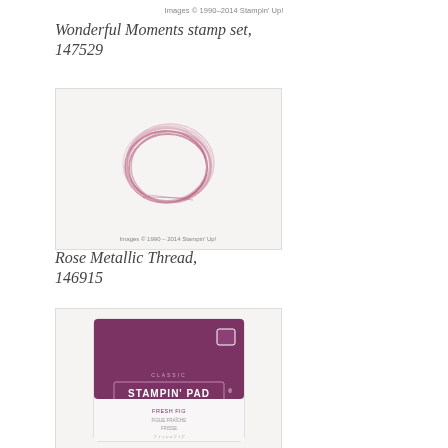Images © 1990–2014 Stampin' Up!
Wonderful Moments stamp set, 147529
[Figure (photo): Photo of a coiled rose metallic thread ring on a white/light background]
Images © 1990 – 2014 Stampin' Up!
Rose Metallic Thread, 146915
[Figure (photo): Photo of a Stampin' Up Classic Stampin' Pad in a deep purple/berry color labeled Fresh Fig]